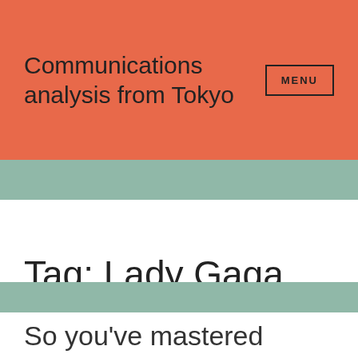Communications analysis from Tokyo
MENU
Tag: Lady Gaga
So you've mastered Instagram? Gaga, Selena